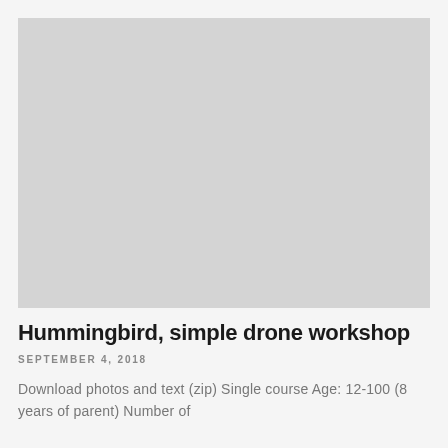[Figure (photo): Large placeholder image area with light gray background, likely a photo of a drone or workshop.]
Hummingbird, simple drone workshop
SEPTEMBER 4, 2018
Download photos and text (zip) Single course Age: 12-100 (8 years of parent) Number of